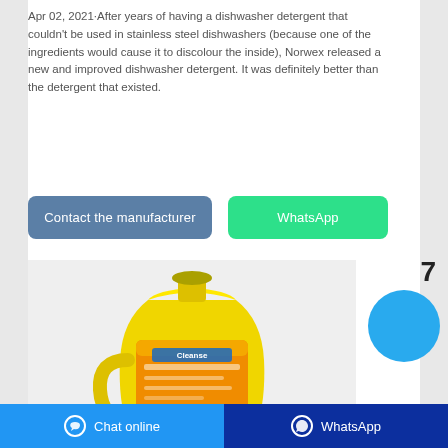Apr 02, 2021·After years of having a dishwasher detergent that couldn't be used in stainless steel dishwashers (because one of the ingredients would cause it to discolour the inside), Norwex released a new and improved dishwasher detergent. It was definitely better than the detergent that existed.
[Figure (infographic): Two call-to-action buttons: 'Contact the manufacturer' (blue-grey) and 'WhatsApp' (green)]
[Figure (photo): Yellow plastic jug of dishwasher detergent (Clorox-style bottle) with orange label, on white background. Number 7 and a blue circle badge appear to the right.]
Chat online   WhatsApp